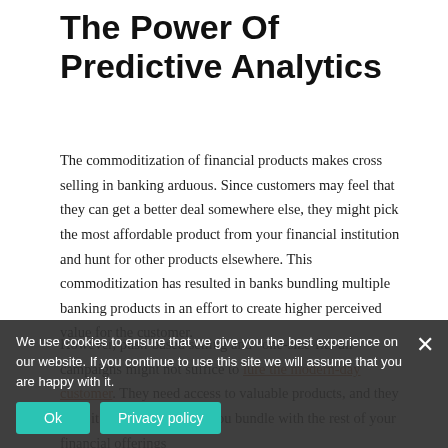The Power Of Predictive Analytics
The commoditization of financial products makes cross selling in banking arduous. Since customers may feel that they can get a better deal somewhere else, they might pick the most affordable product from your financial institution and hunt for other products elsewhere. This commoditization has resulted in banks bundling multiple banking products in an effort to create higher perceived value for the customer.
However, push-based selling and “one-size-fits-all” campaigns might not suffice to lure the modern-day customer. They need access to valuable products, and they need it now. Any product you bundle with the rest of your financial offerings should add the most value to their lives.
Given that banks collect data through CRM software and online tools, they can use that data to identify what their customers need. The data provides insights into:
We use cookies to ensure that we give you the best experience on our website. If you continue to use this site we will assume that you are happy with it.